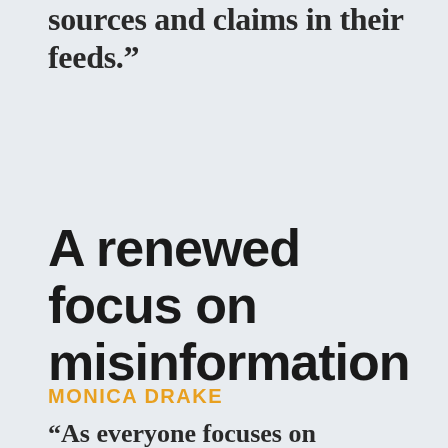sources and claims in their feeds.”
A renewed focus on misinformation
MONICA DRAKE
“As everyone focuses on